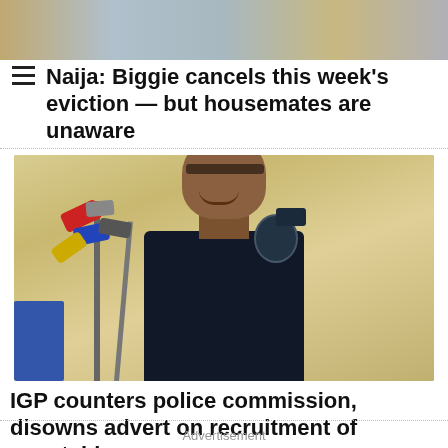[Figure (photo): Top portion of a news article page showing a crowd scene photo cropped at the top]
Naija: Biggie cancels this week's eviction — but housemates are unaware
[Figure (photo): A police officer in dark uniform with cap speaking at a podium with multiple microphones]
IGP counters police commission, disowns advert on recruitment of constables
Advertisement